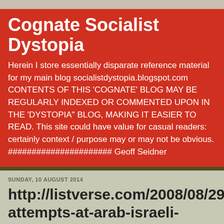Cognate Socialist Dystopia
Herein I store essentially disparate reference material for my main blog socialistdystopia.blogspot.com CONTENTS OF THIS 'COGNATE' BLOG MAY BE REGULARLY INDEXED OR COMMENTED UPON IN THE 'DYSTOPIA" BLOG, MAKING IT EASIER TO READ. This site could have value for casual readers: certainly context / purpose may or may not be obvious. ###################### Geoff Seidner
SUNDAY, 10 AUGUST 2014
http://listverse.com/2008/08/29/10-attempts-at-arab-israeli-peace/
http://listverse.com/2008/08/29/10-attempts-at-arab-israeli-peace/